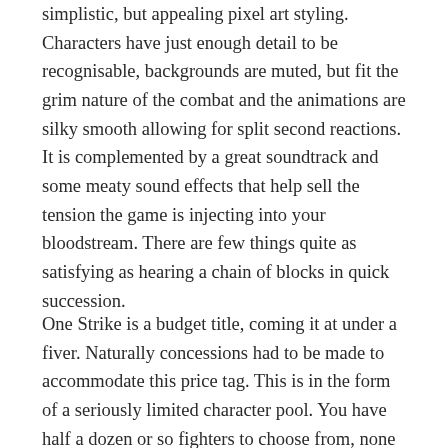simplistic, but appealing pixel art styling. Characters have just enough detail to be recognisable, backgrounds are muted, but fit the grim nature of the combat and the animations are silky smooth allowing for split second reactions. It is complemented by a great soundtrack and some meaty sound effects that help sell the tension the game is injecting into your bloodstream. There are few things quite as satisfying as hearing a chain of blocks in quick succession.
One Strike is a budget title, coming it at under a fiver. Naturally concessions had to be made to accommodate this price tag. This is in the form of a seriously limited character pool. You have half a dozen or so fighters to choose from, none